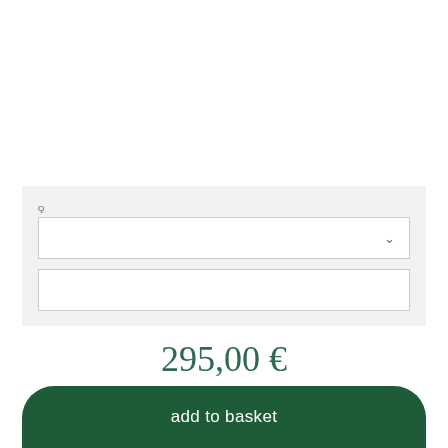[Figure (screenshot): Gray form area with a dropdown selector (showing chevron) and a text input field below it]
295,00 €
[Figure (other): Horizontal divider line]
add to basket